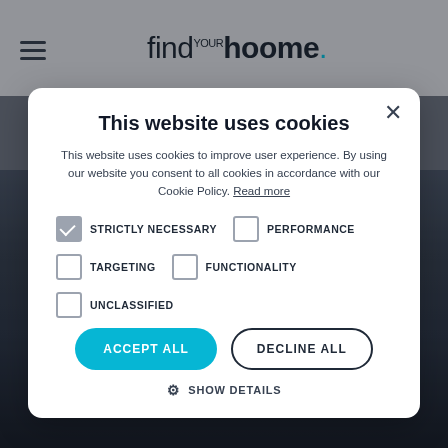find your hoome.
Genova: Village within the city
[Figure (screenshot): Cookie consent modal dialog on findyourhoome.com website, showing options for Strictly Necessary, Performance, Targeting, Functionality, and Unclassified cookies with Accept All and Decline All buttons]
This website uses cookies
This website uses cookies to improve user experience. By using our website you consent to all cookies in accordance with our Cookie Policy. Read more
STRICTLY NECESSARY
PERFORMANCE
TARGETING
FUNCTIONALITY
UNCLASSIFIED
ACCEPT ALL
DECLINE ALL
SHOW DETAILS